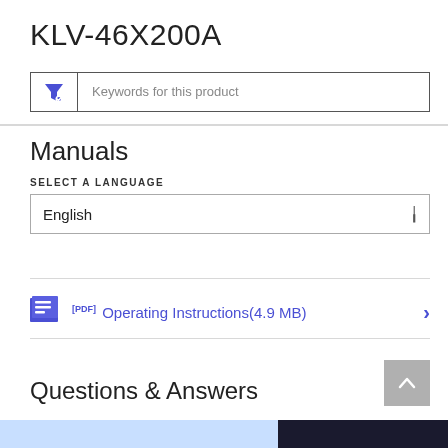KLV-46X200A
Keywords for this product
Manuals
SELECT A LANGUAGE
English
[PDF] Operating Instructions(4.9 MB)
Questions & Answers